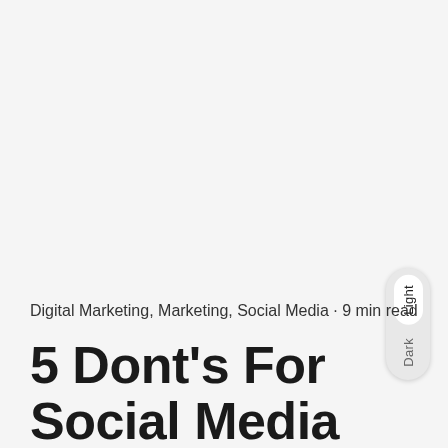[Figure (other): Light/Dark mode toggle widget with two options stacked vertically: 'Light' (active, white background pill) and 'Dark' (inactive), displayed as a rounded pill-shaped toggle on the right side of the page.]
Digital Marketing, Marketing, Social Media · 9 min read
5 Dont's For Social Media Marketing